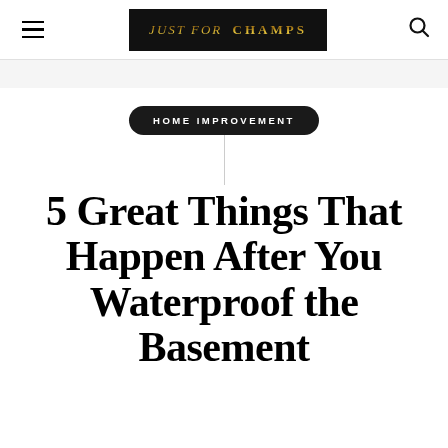JUST FOR CHAMPS
HOME IMPROVEMENT
5 Great Things That Happen After You Waterproof the Basement